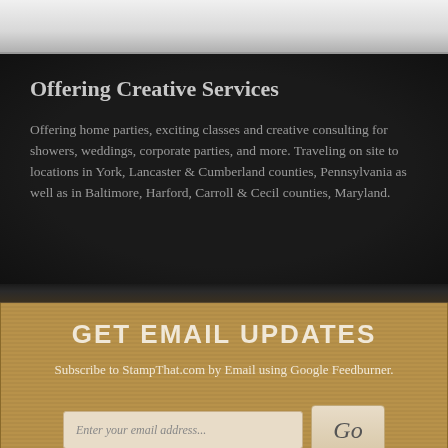Offering Creative Services
Offering home parties, exciting classes and creative consulting for showers, weddings, corporate parties, and more. Traveling on site to locations in York, Lancaster & Cumberland counties, Pennsylvania as well as in Baltimore, Harford, Carroll & Cecil counties, Maryland.
GET EMAIL UPDATES
Subscribe to StampThat.com by Email using Google Feedburner.